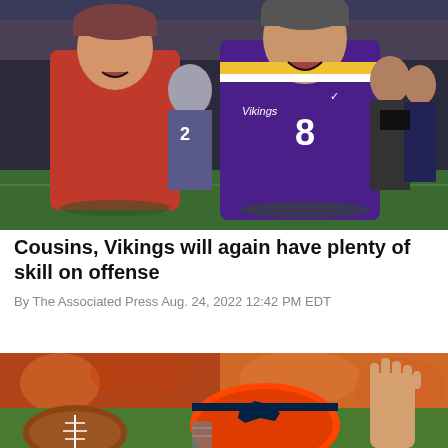[Figure (photo): Two football players chatting and laughing on the field after a game. One player in a red jersey and camo cap, and another in a purple Minnesota Vikings jersey number 8, presumably Kirk Cousins.]
Cousins, Vikings will again have plenty of skill on offense
By The Associated Press Aug. 24, 2022 12:42 PM EDT
[Figure (photo): Close-up of a football on the field with a Denver Broncos helmet visible in the background and a raised hand on the right.]